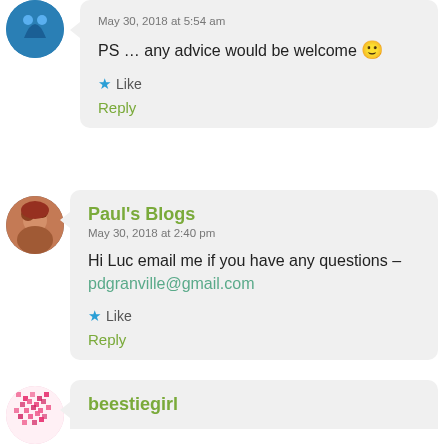May 30, 2018 at 5:54 am
PS … any advice would be welcome 🙂
Like
Reply
Paul's Blogs
May 30, 2018 at 2:40 pm
Hi Luc email me if you have any questions – pdgranville@gmail.com
Like
Reply
beestiegirl